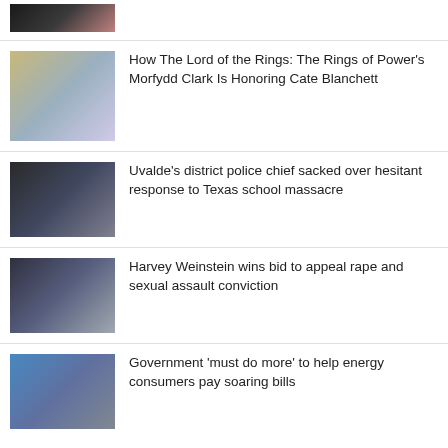[Figure (photo): Partial top image, cropped news thumbnail showing a dark scene]
How The Lord of the Rings: The Rings of Power's Morfydd Clark Is Honoring Cate Blanchett
[Figure (photo): Two women in fantasy costume - Morfydd Clark and Cate Blanchett as Galadriel]
Uvalde's district police chief sacked over hesitant response to Texas school massacre
[Figure (photo): Police officers in uniform at Uvalde]
Harvey Weinstein wins bid to appeal rape and sexual assault conviction
[Figure (photo): Harvey Weinstein in suit and tie]
Government 'must do more' to help energy consumers pay soaring bills
[Figure (photo): Woman wrapped in blue shawl sitting on couch]